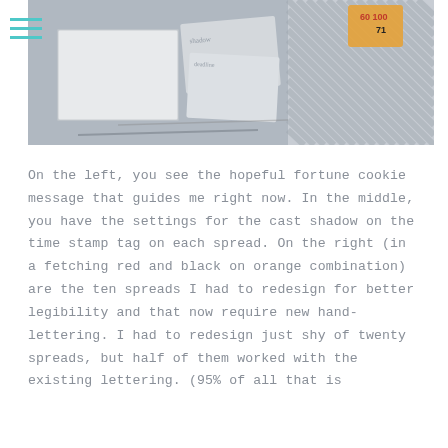[Figure (photo): A flat lay photo showing papers and cards on a desk surface. On the left is a plain white card/note. In the middle are overlapping tags or cards with handwritten text and shadow settings. On the right are orange/red price or spread tags with numbers including 60, 100, 71. Gray striped material visible in the background.]
On the left, you see the hopeful fortune cookie message that guides me right now. In the middle, you have the settings for the cast shadow on the time stamp tag on each spread. On the right (in a fetching red and black on orange combination) are the ten spreads I had to redesign for better legibility and that now require new hand-lettering. I had to redesign just shy of twenty spreads, but half of them worked with the existing lettering. (95% of all that is